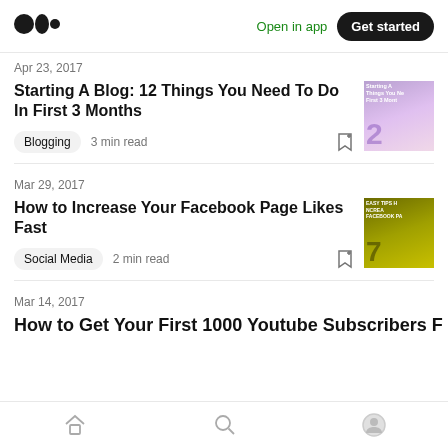Medium logo | Open in app | Get started
Apr 23, 2017
Starting A Blog: 12 Things You Need To Do In First 3 Months
Blogging  3 min read
Mar 29, 2017
How to Increase Your Facebook Page Likes Fast
Social Media  2 min read
Mar 14, 2017
How to Get Your First 1000 Youtube Subscribers F…
Home | Search | Profile